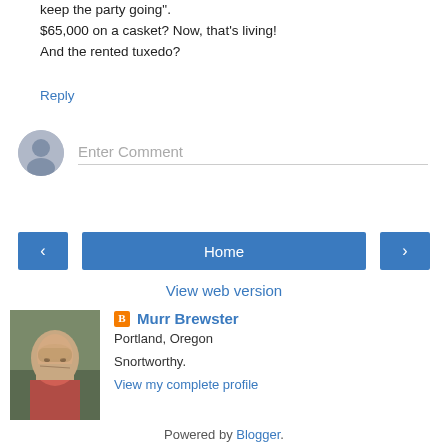keep the party going".
$65,000 on a casket? Now, that's living!
And the rented tuxedo?
Reply
Enter Comment
< Home >
View web version
Murr Brewster
Portland, Oregon
Snortworthy.
View my complete profile
Powered by Blogger.